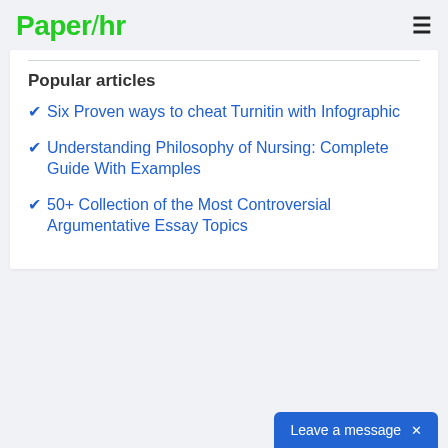Paper/hr
Popular articles
Six Proven ways to cheat Turnitin with Infographic
Understanding Philosophy of Nursing: Complete Guide With Examples
50+ Collection of the Most Controversial Argumentative Essay Topics
Leave a message  ×